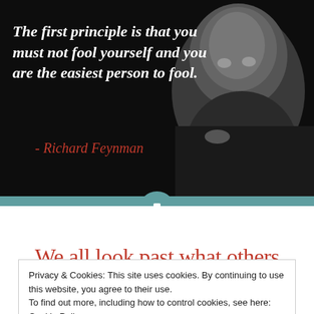[Figure (photo): Black and white photo of Richard Feynman against dark background, with quote text overlaid on the left side]
The first principle is that you must not fool yourself and you are the easiest person to fool.
- Richard Feynman
We all look past what others
Privacy & Cookies: This site uses cookies. By continuing to use this website, you agree to their use.
To find out more, including how to control cookies, see here: Cookie Policy
Close and accept